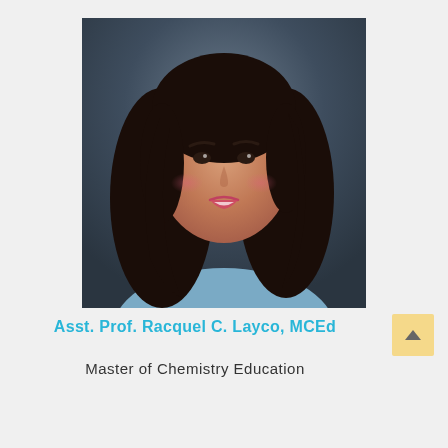[Figure (photo): Professional headshot/portrait photo of a woman with long dark hair, wearing a light blue top, smiling, against a dark grey background]
Asst. Prof. Racquel C. Layco, MCEd
Master of Chemistry Education